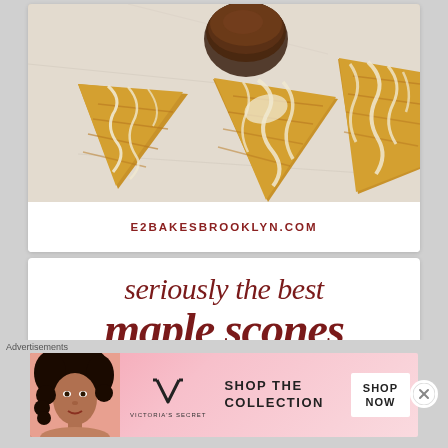[Figure (photo): Overhead view of glazed maple scones on a white surface with a small bowl of maple syrup, drizzled with cream-colored glaze]
E2BAKESBROOKLYN.COM
seriously the best maple scones
Advertisements
[Figure (photo): Victoria's Secret advertisement banner showing a woman with curly hair on a pink background with text 'SHOP THE COLLECTION' and a 'SHOP NOW' button]